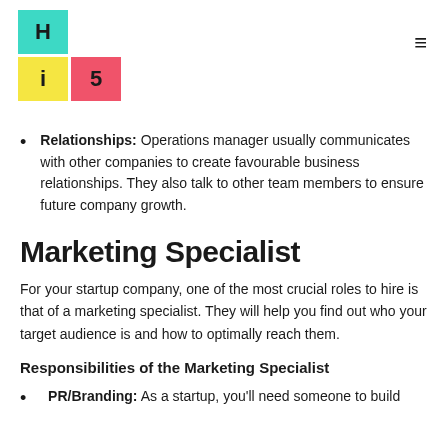Hi5 logo
Relationships: Operations manager usually communicates with other companies to create favourable business relationships. They also talk to other team members to ensure future company growth.
Marketing Specialist
For your startup company, one of the most crucial roles to hire is that of a marketing specialist. They will help you find out who your target audience is and how to optimally reach them.
Responsibilities of the Marketing Specialist
PR/Branding: As a startup, you'll need someone to build